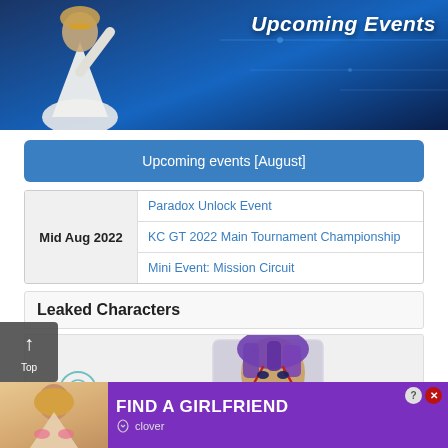[Figure (illustration): Banner image with 'Upcoming Events' title text over a dark blue background with a stylized anime character (white-robed figure with golden accessories) on the left side.]
Upcoming events [August]
|  |  |
| --- | --- |
| Mid Aug 2022 | Paradox Unlock Event |
| Mid Aug 2022 | KC GT 2022 Main Tournament Championship |
| Mid Aug 2022 | Mini Event: Mission Circuit |
Leaked Characters
[Figure (illustration): Partial view of an anime character with purple hair and red face markings (Yu-Gi-Oh style) inside a card-like frame.]
[Figure (photo): Advertisement banner: 'FIND A GIRLFRIEND' in bold white text on purple background, with a woman photo on the left and Clover app logo.]